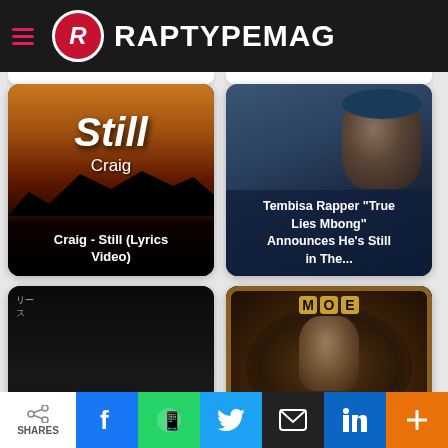RAPTYPEMAG
[Figure (photo): Card: Craig - Still (Lyrics Video) - sunset/mountain background with text 'Still Craig']
[Figure (photo): Card: Tembisa Rapper 'True Lies Mbong' Announces He's Still in The... - rapper photo with hoodie]
[Figure (photo): Card: Rapper Soli.Q Drops his Debut Single 'SHE AINT'... - dark night scene]
[Figure (photo): Card: Listen to 'Coffee' by Singer 'M.O.E' - ornate frame album art]
SHARES | f | WhatsApp | Twitter | Email | in | +